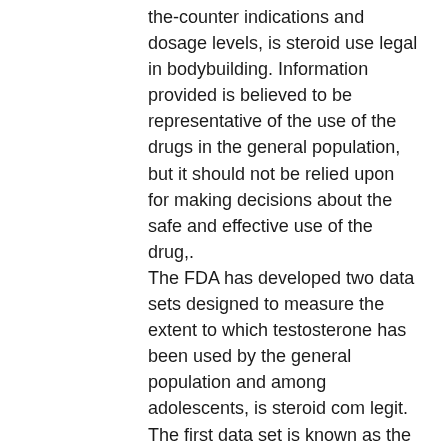the-counter indications and dosage levels, is steroid use legal in bodybuilding. Information provided is believed to be representative of the use of the drugs in the general population, but it should not be relied upon for making decisions about the safe and effective use of the drug,. The FDA has developed two data sets designed to measure the extent to which testosterone has been used by the general population and among adolescents, is steroid com legit. The first data set is known as the FDA Prescribing Record (FPR), which represents more than 100,000 prescriptions for testosterone product in the United States and is reviewed and made available on this web site. The second data set is the FDA Use Inpatient Data Set, which includes more than 10,000 prescriptions for other oral testosterone products. I usually use Dbol as a kickstart to cycles with steroid compounds that take longer to take effect such as Test Eand Tri-Syn and I can just use 2 weeks of Dbol and keep that cycle going. I'm also